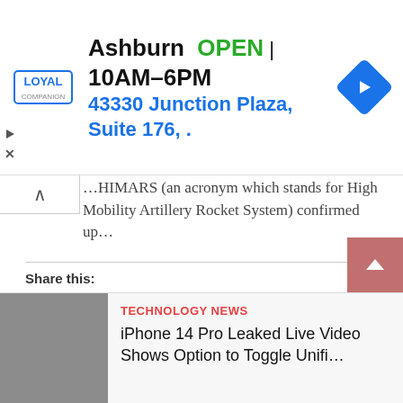[Figure (screenshot): Advertisement banner for Loyal Companion pet store in Ashburn showing logo, OPEN status, hours 10AM-6PM, address 43330 Junction Plaza Suite 176, and navigation arrow icon]
...HIMARS (an acronym which stands for High Mobility Artillery Rocket System) confirmed up…
Share this:
[Figure (infographic): Row of social media share buttons: Twitter (blue), Facebook (blue), LinkedIn (dark blue), Tumblr (dark navy), Pinterest (red)]
Like this:
Loading...
TECHNOLOGY NEWS
iPhone 14 Pro Leaked Live Video Shows Option to Toggle Unifi…